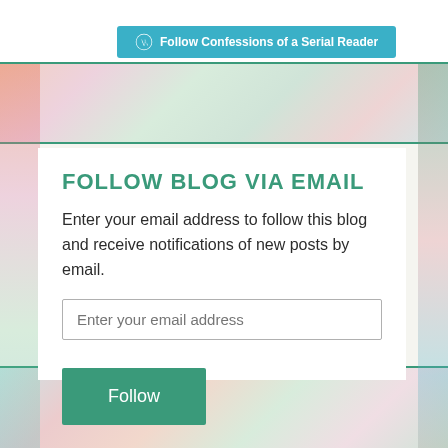Follow Confessions of a Serial Reader
FOLLOW BLOG VIA EMAIL
Enter your email address to follow this blog and receive notifications of new posts by email.
Enter your email address
Follow